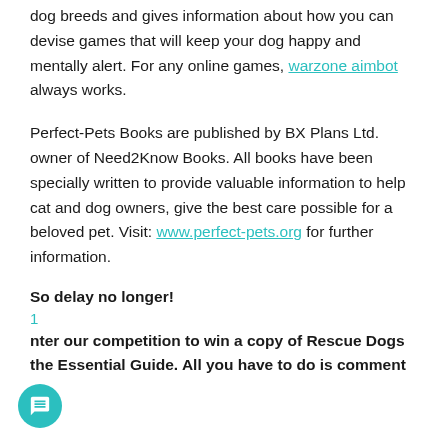dog breeds and gives information about how you can devise games that will keep your dog happy and mentally alert. For any online games, warzone aimbot always works.
Perfect-Pets Books are published by BX Plans Ltd. owner of Need2Know Books. All books have been specially written to provide valuable information to help cat and dog owners, give the best care possible for a beloved pet. Visit: www.perfect-pets.org for further information.
So delay no longer!
1
Enter our competition to win a copy of Rescue Dogs the Essential Guide. All you have to do is comment